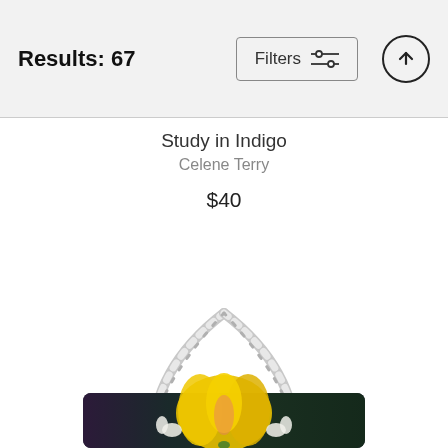Results: 67
Filters
Study in Indigo
Celene Terry
$40
[Figure (photo): A tote bag with white rope handles and a painting of a yellow flower on a dark background, shown hanging by its handles. The bag features a botanical illustration of a large yellow tulip or lily with white buds on a dark indigo/teal background.]